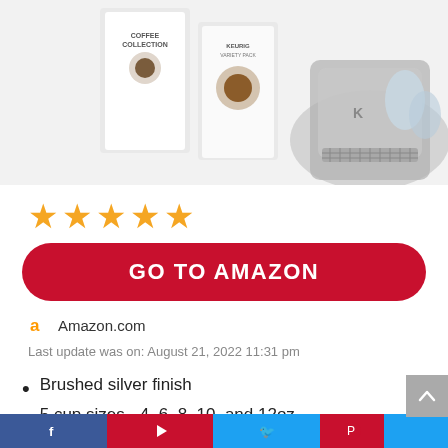[Figure (photo): Product photo of Keurig coffee maker with K-cup variety packs, brushed silver finish, shown with water filters]
[Figure (other): 4 filled gold/orange stars representing a 4-star rating]
GO TO AMAZON
Amazon.com
Last update was on: August 21, 2022 11:31 pm
Brushed silver finish
5 cup sizes - 4, 6, 8, 10, and 12oz